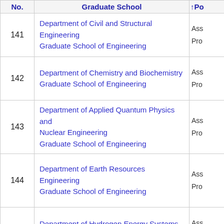| No. | Graduate School | ↑Po... |
| --- | --- | --- |
| 141 | Department of Civil and Structural Engineering
Graduate School of Engineering | Ass
Pro |
| 142 | Department of Chemistry and Biochemistry
Graduate School of Engineering | Ass
Pro |
| 143 | Department of Applied Quantum Physics and Nuclear Engineering
Graduate School of Engineering | Ass
Pro |
| 144 | Department of Earth Resources Engineering
Graduate School of Engineering | Ass
Pro |
| 145 | Department of Hydrogen Energy Systems
Graduate School of Engineering | Ass
Pro |
| 146 | Department of Chemistry and Biochemistry
Graduate School of Engineering | Ass
Pro |
| 147 | Department of Mechanical Engineering
Graduate School of Engineering | Ass
Pro |